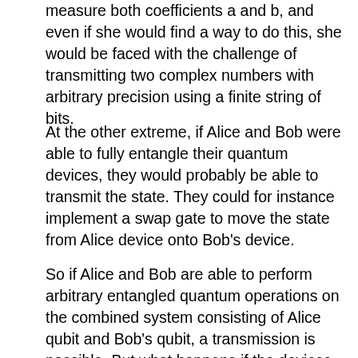measure both coefficients a and b, and even if she would find a way to do this, she would be faced with the challenge of transmitting two complex numbers with arbitrary precision using a finite string of bits.
At the other extreme, if Alice and Bob were able to fully entangle their quantum devices, they would probably be able to transmit the state. They could for instance implement a swap gate to move the state from Alice device onto Bob's device.
So if Alice and Bob are able to perform arbitrary entangled quantum operations on the combined system consisting of Alice qubit and Bob's qubit, a transmission is possible. But what happens if the devices are separated? It turns out that a transmission is still possible based on the classical channel provided that Alice and Bob had a chance to prepare a common